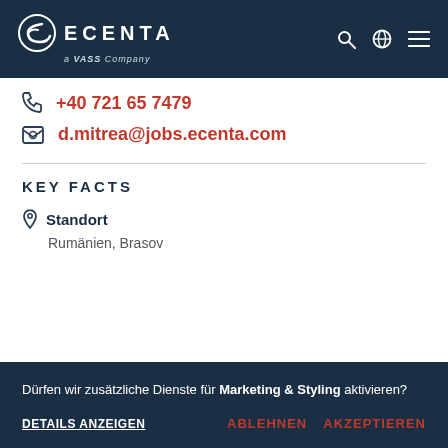[Figure (logo): ECENTA a VASS Company logo on dark navy navigation bar with search, globe, and hamburger menu icons]
+40 721 65 7479
d.mitrea@jobs.ecenta.com
KEY FACTS
Standort
Rumänien, Brasov
Dürfen wir zusätzliche Dienste für Marketing & Styling aktivieren?
DETAILS ANZEIGEN
ABLEHNEN
AKZEPTIEREN